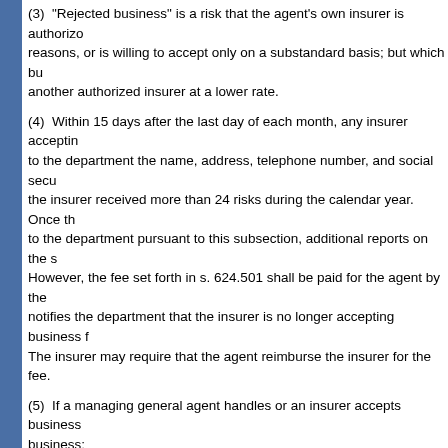(3)  "Rejected business" is a risk that the agent's own insurer is authorized to reject for reasons, or is willing to accept only on a substandard basis; but which bu... another authorized insurer at a lower rate.
(4)  Within 15 days after the last day of each month, any insurer accepting ... to the department the name, address, telephone number, and social sec... the insurer received more than 24 risks during the calendar year. Once th... to the department pursuant to this subsection, additional reports on the s... However, the fee set forth in s. 624.501 shall be paid for the agent by the... notifies the department that the insurer is no longer accepting business f... The insurer may require that the agent reimburse the insurer for the fee.
(5)  If a managing general agent handles or an insurer accepts business ... business:
(a)  The insurer shall be liable to the insured for coverage arising hereun... producing their business; and
(b)  The managing general agent or insurer shall be responsible and acc... the producing agent, and the violation shall be deemed to be a violation o... agent or insurer if the managing general agent or insurer knew of or enco... violation.
History.--s. 297, ch. 59-205; s. 3, ch. 76-168; s. 1, ch. 77-457; s. 3, ch. 81-282; ss. 2, 3, ch... 101, 206, 207, ch. 90-363; s. 4, ch. 91-429; s. 266, ch. 97-102.